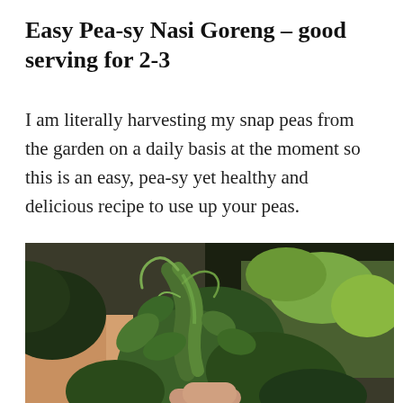Easy Pea-sy Nasi Goreng – good serving for 2-3
I am literally harvesting my snap peas from the garden on a daily basis at the moment so this is an easy, pea-sy yet healthy and delicious recipe to use up your peas.
[Figure (photo): Close-up photo of fresh snap peas and pea leaves held in hand, with a green garden background visible behind.]